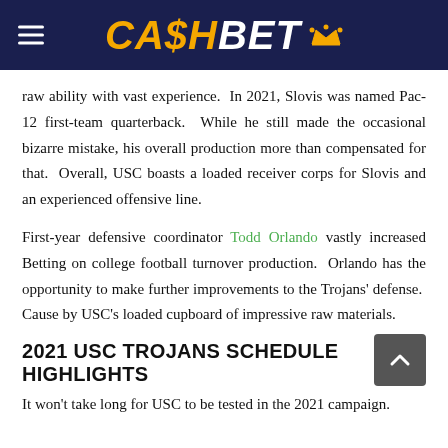CASHBET
raw ability with vast experience.  In 2021, Slovis was named Pac-12 first-team quarterback.  While he still made the occasional bizarre mistake, his overall production more than compensated for that.  Overall, USC boasts a loaded receiver corps for Slovis and an experienced offensive line.
First-year defensive coordinator Todd Orlando vastly increased Betting on college football turnover production.  Orlando has the opportunity to make further improvements to the Trojans' defense.  Cause by USC's loaded cupboard of impressive raw materials.
2021 USC TROJANS SCHEDULE HIGHLIGHTS
It won't take long for USC to be tested in the 2021 campaign.